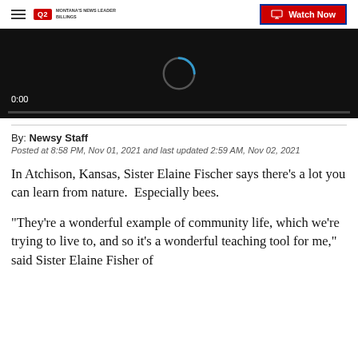Q2 Montana's News Leader Billings | Watch Now
[Figure (screenshot): Video player showing a loading spinner with 0:00 timestamp on a dark background]
By: Newsy Staff
Posted at 8:58 PM, Nov 01, 2021 and last updated 2:59 AM, Nov 02, 2021
In Atchison, Kansas, Sister Elaine Fischer says there's a lot you can learn from nature.  Especially bees.
"They're a wonderful example of community life, which we're trying to live to, and so it's a wonderful teaching tool for me," said Sister Elaine Fisher of